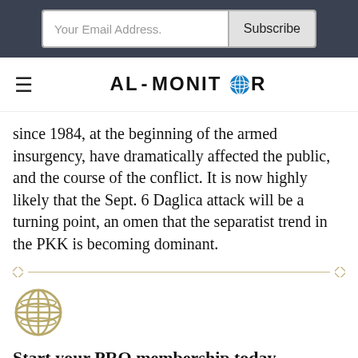[Figure (screenshot): Email subscription bar with 'Your Email Address.' input field and 'Subscribe' button on dark background]
AL-MONITOR
since 1984, at the beginning of the armed insurgency, have dramatically affected the public, and the course of the conflict. It is now highly likely that the Sept. 6 Daglica attack will be a turning point, an omen that the separatist trend in the PKK is becoming dominant.
[Figure (illustration): Gold/tan globe icon]
Start your PRO membership today.